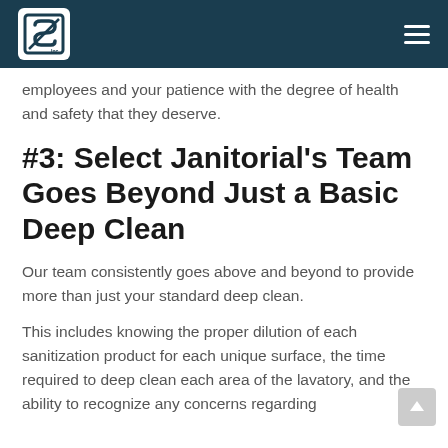SJ Inc. logo and navigation menu
employees and your patience with the degree of health and safety that they deserve.
#3: Select Janitorial's Team Goes Beyond Just a Basic Deep Clean
Our team consistently goes above and beyond to provide more than just your standard deep clean.
This includes knowing the proper dilution of each sanitization product for each unique surface, the time required to deep clean each area of the lavatory, and the ability to recognize any concerns regarding